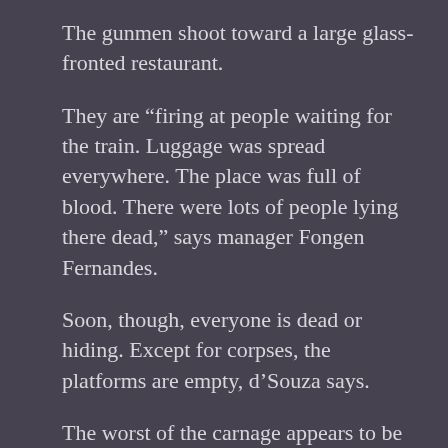The gunmen shoot toward a large glass-fronted restaurant.
They are “firing at people waiting for the train. Luggage was spread everywhere. The place was full of blood. There were lots of people lying there dead,” says manager Fongen Fernandes.
Soon, though, everyone is dead or hiding. Except for corpses, the platforms are empty, d’Souza says.
The worst of the carnage appears to be in a waiting room for out-of-town trains. It was filled with dozens of bodies, many shot in the head.
Overall, authorities say, 53 people